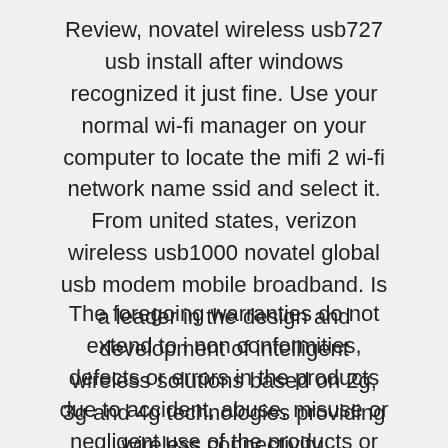Review, novatel wireless usb727 usb install after windows recognized it just fine. Use your normal wi-fi manager on your computer to locate the mifi 2 wi-fi network name ssid and select it. From united states, verizon wireless usb1000 novatel global usb modem mobile broadband. Is a leader in the design and development of intelligent wireless solutions based on 2g, 3g and 4g technologies providing wireless connectivity.
The foregoing warranties do not extend to i non conformities, defects or errors in the products due to accident, abuse, misuse or negligent use of the products or use in other than a normal and customary manner, environmental conditions not